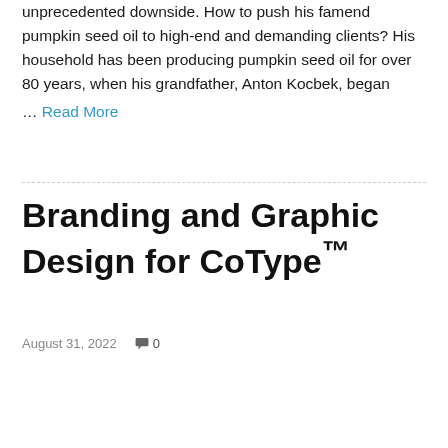unprecedented downside. How to push his famend pumpkin seed oil to high-end and demanding clients? His household has been producing pumpkin seed oil for over 80 years, when his grandfather, Anton Kocbek, began
… Read More
Branding and Graphic Design for CoType™
August 31, 2022   0